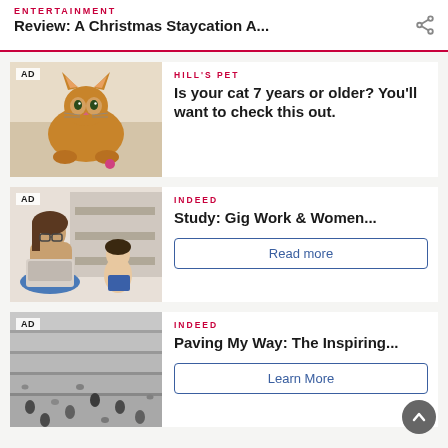ENTERTAINMENT
Review: A Christmas Staycation A...
[Figure (photo): Orange tabby cat sitting on floor, AD label, Hill's Pet advertisement]
HILL'S PET
Is your cat 7 years or older? You'll want to check this out.
[Figure (photo): Woman with laptop and child, AD label, Indeed advertisement]
INDEED
Study: Gig Work & Women...
Read more
[Figure (photo): Aerial view of stone steps with people and pigeons, AD label, Indeed advertisement]
INDEED
Paving My Way: The Inspiring...
Learn More